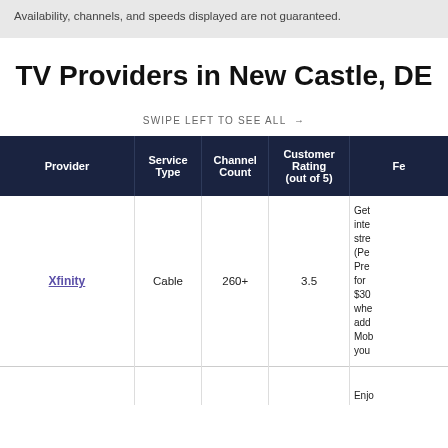Availability, channels, and speeds displayed are not guaranteed.
TV Providers in New Castle, DE
SWIPE LEFT TO SEE ALL →
| Provider | Service Type | Channel Count | Customer Rating (out of 5) | Fe… |
| --- | --- | --- | --- | --- |
| Xfinity | Cable | 260+ | 3.5 | Get inte…stre…(Pe…Pre…for…$30…whe…add…Mob…you… |
|  |  |  |  | Enjo… |